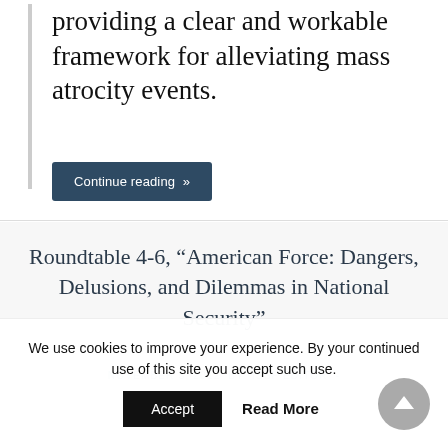providing a clear and workable framework for alleviating mass atrocity events.
Continue reading »
Roundtable 4-6, “American Force: Dangers, Delusions, and Dilemmas in National Security”
NOVEMBER 5, 2012 BY ISSF EDITOR -
We use cookies to improve your experience. By your continued use of this site you accept such use.
Accept
Read More